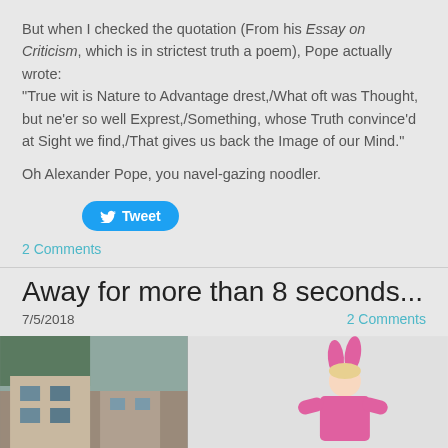But when I checked the quotation (From his Essay on Criticism, which is in strictest truth a poem), Pope actually wrote: "True wit is Nature to Advantage drest,/What oft was Thought, but ne'er so well Exprest,/Something, whose Truth convince'd at Sight we find,/That gives us back the Image of our Mind."
Oh Alexander Pope, you navel-gazing noodler.
[Figure (other): Twitter Tweet button with bird icon]
2 Comments
Away for more than 8 seconds...
7/5/2018
2 Comments
[Figure (photo): Photo showing a building on the left side and a child in a pink bunny costume on the right side]